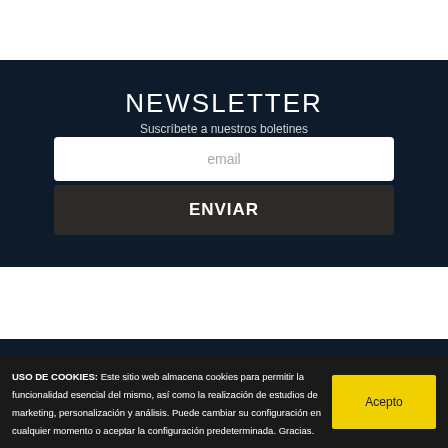NEWSLETTER
Suscríbete a nuestros boletines
email
ENVIAR
© All Rights Reserved
USO DE COOKIES: Este sitio web almacena cookies para permitir la funcionalidad esencial del mismo, así como la realización de estudios de marketing, personalización y análisis. Puede cambiar su configuración en cualquier momento o aceptar la configuración predeterminada. Gracias.
Acepto